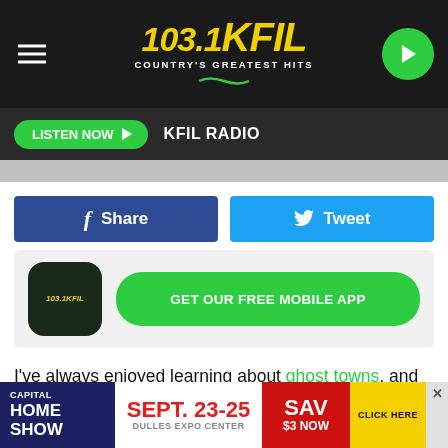[Figure (screenshot): 103.1 KFIL radio station top navigation bar with logo and play button]
[Figure (screenshot): Listen Now button bar with KFIL Radio label]
[Figure (screenshot): Gray profile thumbnail strip]
[Figure (infographic): Facebook Share and Twitter Tweet social buttons]
[Figure (infographic): Get Our Free Mobile App promo with 103.1 KFIL app icon and green button]
I've always enjoyed learning about ghost towns, and there are many of them around Minnesota. Quite a few of those ghost towns are actually right here in southern Minnesota. I was able to find 9 ghost towns in the area that are all within 100 miles of Rochester, Minnesota. Most of them are within an
[Figure (screenshot): Capital Home Show advertisement banner: SEPT. 23-25 Dulles Expo Center, Save $3 Now Click Here]